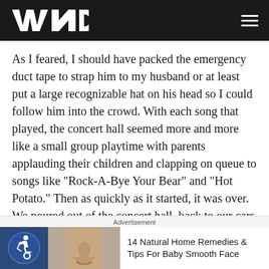WND
As I feared, I should have packed the emergency duct tape to strap him to my husband or at least put a large recognizable hat on his head so I could follow him into the crowd. With each song that played, the concert hall seemed more and more like a small group playtime with parents applauding their children and clapping on queue to songs like "Rock-A-Bye Your Bear" and "Hot Potato." Then as quickly as it started, it was over. We poured out of the concert hall, back to our cars and on toward home to make dinner, followed by bath time, story time and bedtime.
Advertisement
14 Natural Home Remedies & Tips For Baby Smooth Face